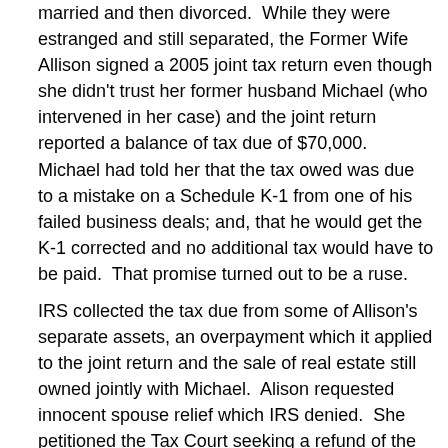married and then divorced. While they were estranged and still separated, the Former Wife Allison signed a 2005 joint tax return even though she didn't trust her former husband Michael (who intervened in her case) and the joint return reported a balance of tax due of $70,000. Michael had told her that the tax owed was due to a mistake on a Schedule K-1 from one of his failed business deals; and, that he would get the K-1 corrected and no additional tax would have to be paid. That promise turned out to be a ruse.
IRS collected the tax due from some of Allison's separate assets, an overpayment which it applied to the joint return and the sale of real estate still owned jointly with Michael. Alison requested innocent spouse relief which IRS denied. She petitioned the Tax Court seeking a refund of the taxes collected from her assets. IRS stipulated that